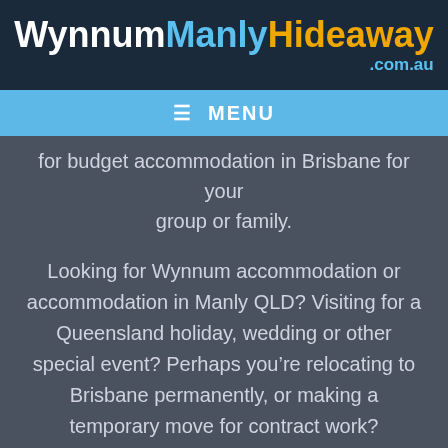WynnumManlyHideaway .com.au
≡ MENU
for budget accommodation in Brisbane for your group or family.
Looking for Wynnum accommodation or accommodation in Manly QLD? Visiting for a Queensland holiday, wedding or other special event? Perhaps you're relocating to Brisbane permanently, or making a temporary move for contract work?
Whatever the reason, you can explore the Moreton